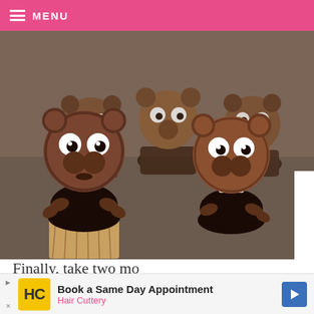≡ MENU
[Figure (photo): Multiple chocolate cupcakes decorated to look like groundhogs, with Reese's peanut butter cup faces, candy eyes, chocolate noses, and M&M paws on dark chocolate cupcake bases]
Finally, take two mo
on each side of the groundhog's face for paws.
[Figure (other): Advertisement banner for Hair Cuttery: 'Book a Same Day Appointment' with HC logo and blue arrow button]